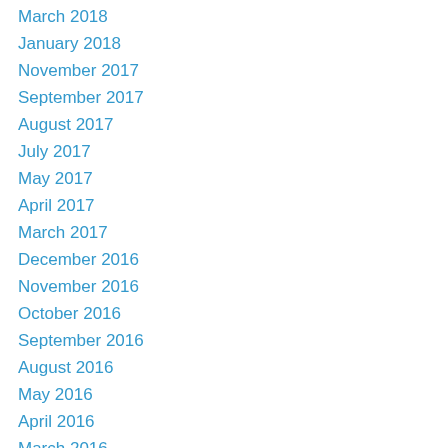March 2018
January 2018
November 2017
September 2017
August 2017
July 2017
May 2017
April 2017
March 2017
December 2016
November 2016
October 2016
September 2016
August 2016
May 2016
April 2016
March 2016
February 2016
January 2016
December 2015